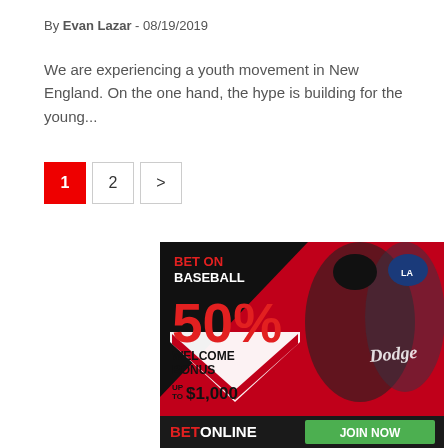By Evan Lazar - 08/19/2019
We are experiencing a youth movement in New England. On the one hand, the hype is building for the young...
1  2  >
[Figure (photo): Sports betting advertisement banner for BetOnline featuring two baseball players. Text reads: BET ON BASEBALL, 50% WELCOME BONUS UP TO $1,000. Footer shows BETONLINE and JOIN NOW button.]